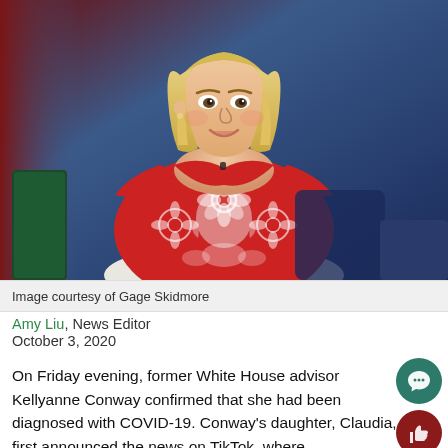[Figure (photo): Photo of a blonde woman in a red floral dress seated, smiling, against a blue background. Appears to be at a formal event or panel.]
Image courtesy of Gage Skidmore
Amy Liu, News Editor
October 3, 2020
On Friday evening, former White House advisor Kellyanne Conway confirmed that she had been diagnosed with COVID-19. Conway's daughter, Claudia, first announced the news on TikTok, where